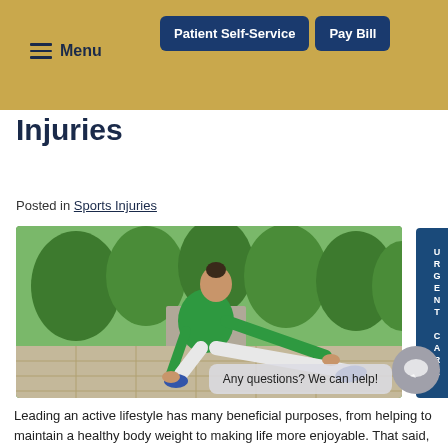Menu | Patient Self-Service | Pay Bill
Injuries
Posted in Sports Injuries
[Figure (photo): Woman in green athletic jacket stretching on a paved path outdoors, surrounded by green trees.]
Any questions? We can help!
Leading an active lifestyle has many beneficial purposes, from helping to maintain a healthy body weight to making life more enjoyable. That said, it's important to avoid developing injuries